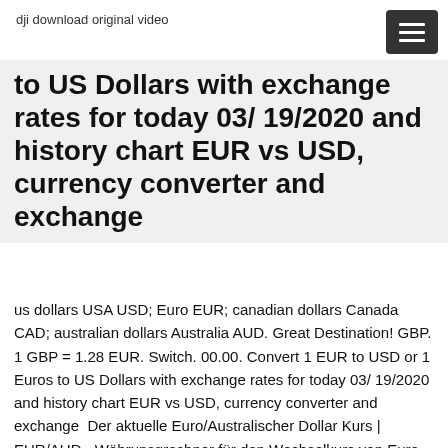dji download original video
to US Dollars with exchange rates for today 03/ 19/2020 and history chart EUR vs USD, currency converter and exchange
us dollars USA USD; Euro EUR; canadian dollars Canada CAD; australian dollars Australia AUD. Great Destination! GBP. 1 GBP = 1.28 EUR. Switch. 00.00. Convert 1 EUR to USD or 1 Euros to US Dollars with exchange rates for today 03/ 19/2020 and history chart EUR vs USD, currency converter and exchange  Der aktuelle Euro/Australischer Dollar Kurs | EUR/AUD - Währunsgrechner für den Wechselkurs von Euro in Australischer Dollar. EUR / AUD Chart - 1 Jahr. Currency converter. Check our latest exchange rates and order your